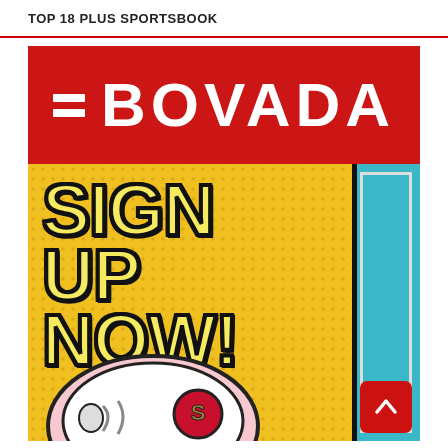TOP 18 PLUS SPORTSBOOK
[Figure (illustration): Bovada sportsbook advertisement. Top half: red banner with white BOVADA logo text and two horizontal bars icon. Bottom half: comic-book style yellow background with halftone dot pattern and bold yellow text reading SIGN UP NOW! with thick black outline. Right side has a teal/cyan panel with black border. Bottom shows a partial illustration of a San Francisco 49ers football helmet in pink/white comic art style. A red scroll-to-top arrow button is in the bottom right corner.]